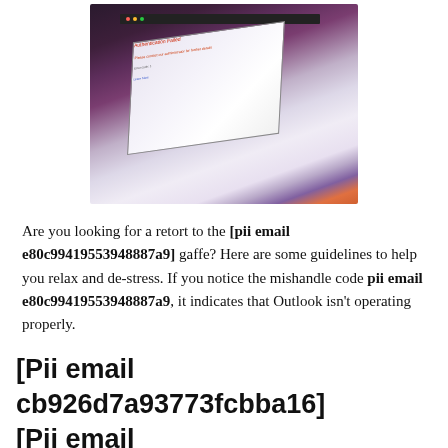[Figure (photo): A MacBook laptop screen showing an authentication or error dialog with red error text, photographed at an angle on a dark background.]
Are you looking for a retort to the [pii email e80c99419553948887a9] gaffe? Here are some guidelines to help you relax and de-stress. If you notice the mishandle code pii email e80c99419553948887a9, it indicates that Outlook isn't operating properly.
[Pii email cb926d7a93773fcbba16] [Pii email cb926d7a93773fcbba16] [Pii email c Fixing an Error in a